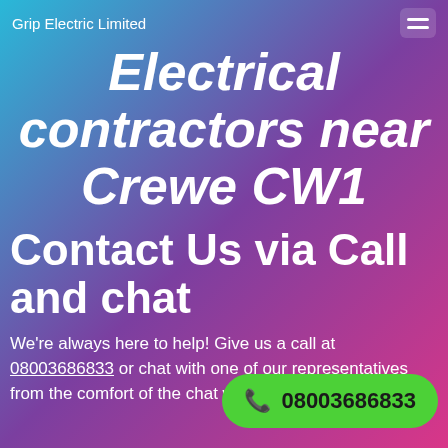Grip Electric Limited
Electrical contractors near Crewe CW1
Contact Us via Call and chat
We're always here to help! Give us a call at 08003686833 or chat with one of our representatives from the comfort of the chat window on your screen.
[Figure (other): Green rounded call button with phone icon and number 08003686833]